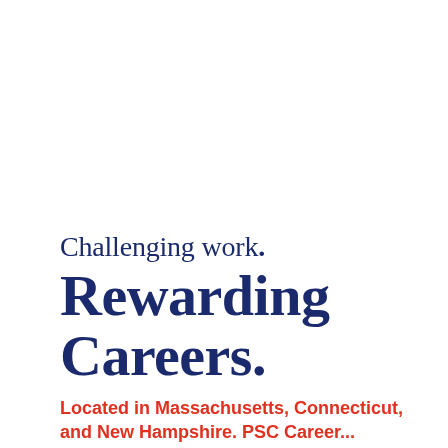Challenging work. Rewarding Careers.
Located in Massachusetts, Connecticut, and New Hampshire. PSC Career...